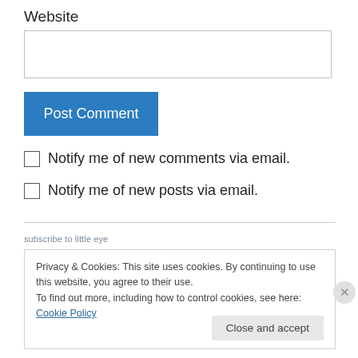Website
[Figure (screenshot): Empty text input field for website URL]
[Figure (screenshot): Blue 'Post Comment' button]
Notify me of new comments via email.
Notify me of new posts via email.
subscribe to little eye
Privacy & Cookies: This site uses cookies. By continuing to use this website, you agree to their use.
To find out more, including how to control cookies, see here: Cookie Policy
Close and accept